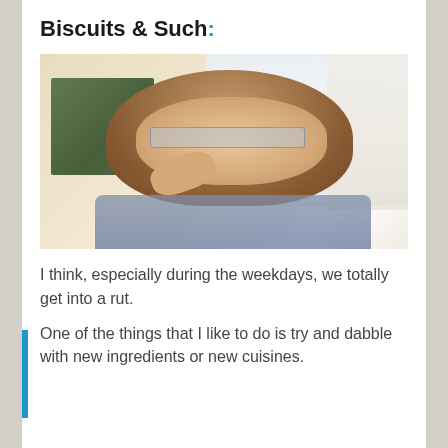Biscuits & Such:
[Figure (photo): A smiling woman with glasses and long hair, resting her hand near her face, sitting in front of a window with a curtain and a framed picture on the wall behind her.]
I think, especially during the weekdays, we totally get into a rut.
One of the things that I like to do is try and dabble with new ingredients or new cuisines.